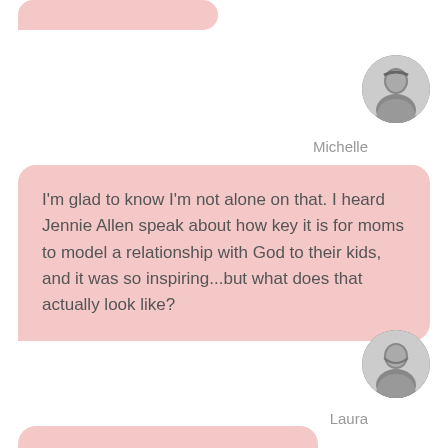[Figure (illustration): Partial pink speech bubble cropped at top of page]
[Figure (photo): Circular black and white avatar photo of Michelle, a woman smiling]
Michelle
I'm glad to know I'm not alone on that. I heard Jennie Allen speak about how key it is for moms to model a relationship with God to their kids, and it was so inspiring...but what does that actually look like?
[Figure (photo): Circular black and white avatar photo of Laura, a woman smiling]
Laura
[Figure (illustration): Partial pink speech bubble cropped at bottom of page]